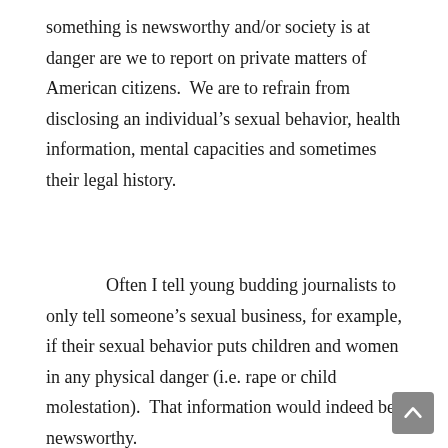something is newsworthy and/or society is at danger are we to report on private matters of American citizens.  We are to refrain from disclosing an individual's sexual behavior, health information, mental capacities and sometimes their legal history.
Often I tell young budding journalists to only tell someone's sexual business, for example, if their sexual behavior puts children and women in any physical danger (i.e. rape or child molestation).  That information would indeed be newsworthy.